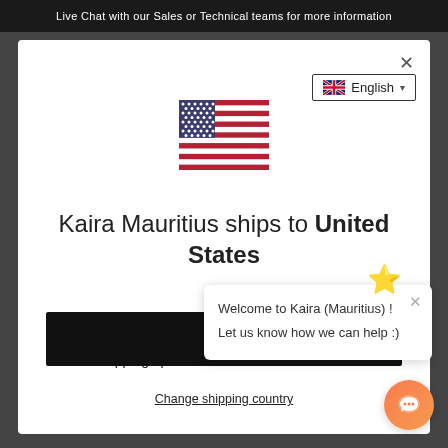Live Chat with our Sales or Technical teams for more information
[Figure (illustration): US flag icon centered in modal]
Kaira Mauritius ships to United States
Shop in SGD $
Get shipping opti...
S
Change shipping country
Welcome to Kaira (Mauritius) ! Let us know how we can help :)